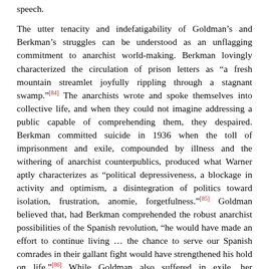speech.

The utter tenacity and indefatigability of Goldman's and Berkman's struggles can be understood as an unflagging commitment to anarchist world-making. Berkman lovingly characterized the circulation of prison letters as “a fresh mountain streamlet joyfully rippling through a stagnant swamp.”[84] The anarchists wrote and spoke themselves into collective life, and when they could not imagine addressing a public capable of comprehending them, they despaired. Berkman committed suicide in 1936 when the toll of imprisonment and exile, compounded by illness and the withering of anarchist counterpublics, produced what Warner aptly characterizes as “political depressiveness, a blockage in activity and optimism, a disintegration of politics toward isolation, frustration, anomie, forgetfulness.”[85] Goldman believed that, had Berkman comprehended the robust anarchist possibilities of the Spanish revolution, “he would have made an effort to continue living … the chance to serve our Spanish comrades in their gallant fight would have strengthened his hold on life.”[86] While Goldman also suffered in exile, her prodigious letter-writing maintained her contact with comrades and sustained her participation in making anarchist worlds.